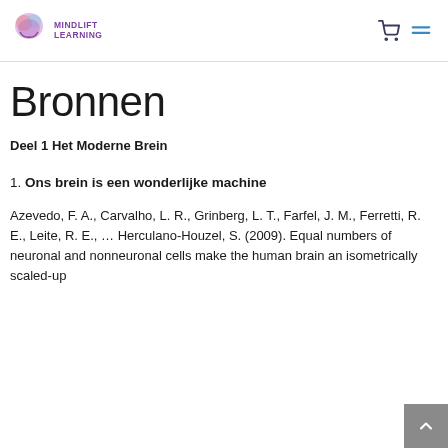MINDLIFT LEARNING
Bronnen
Deel 1 Het Moderne Brein
1. Ons brein is een wonderlijke machine
Azevedo, F. A., Carvalho, L. R., Grinberg, L. T., Farfel, J. M., Ferretti, R. E., Leite, R. E., … Herculano-Houzel, S. (2009). Equal numbers of neuronal and nonneuronal cells make the human brain an isometrically scaled-up